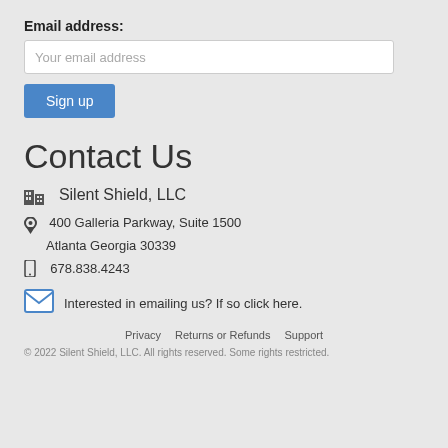Email address:
Your email address
Sign up
Contact Us
Silent Shield, LLC
400 Galleria Parkway, Suite 1500
Atlanta Georgia 30339
678.838.4243
Interested in emailing us? If so click here.
Privacy   Returns or Refunds   Support
© 2022 Silent Shield, LLC. All rights reserved. Some rights restricted.